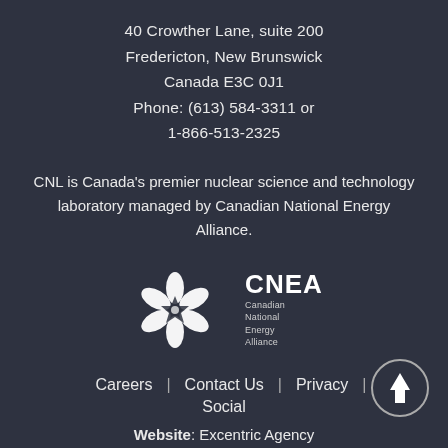40 Crowther Lane, suite 200
Fredericton, New Brunswick
Canada E3C 0J1
Phone: (613) 584-3311 or
1-866-513-2325
CNL is Canada's premier nuclear science and technology laboratory managed by Canadian National Energy Alliance.
[Figure (logo): CNEA logo with a white floral/star emblem and text 'CNEA Canadian National Energy Alliance']
Careers | Contact Us | Privacy | Social
Website: Excentric Agency